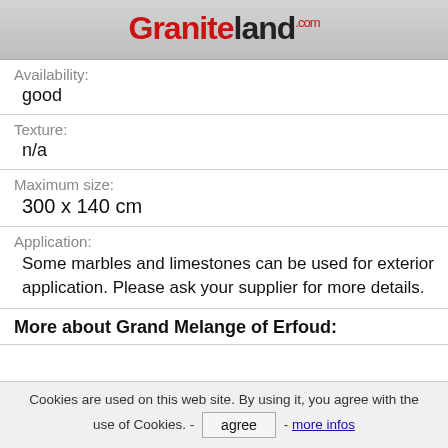Graniteland.com
Availability:
good
Texture:
n/a
Maximum size:
300 x 140 cm
Application:
Some marbles and limestones can be used for exterior application. Please ask your supplier for more details.
More about Grand Melange of Erfoud:
Cookies are used on this web site. By using it, you agree with the use of Cookies. - agree - more infos